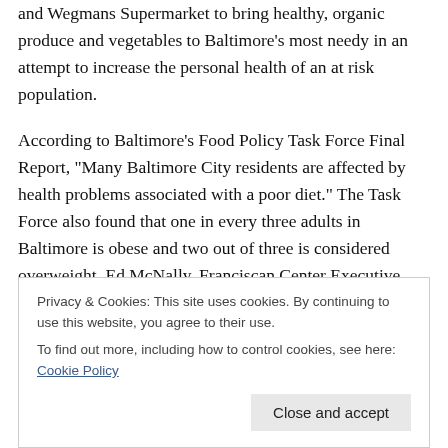and Wegmans Supermarket to bring healthy, organic produce and vegetables to Baltimore’s most needy in an attempt to increase the personal health of an at risk population.
According to Baltimore’s Food Policy Task Force Final Report, “Many Baltimore City residents are affected by health problems associated with a poor diet.” The Task Force also found that one in every three adults in Baltimore is obese and two out of three is considered overweight. Ed McNally, Franciscan Center Executive Director, believes that “foo...
Privacy & Cookies: This site uses cookies. By continuing to use this website, you agree to their use.
To find out more, including how to control cookies, see here: Cookie Policy